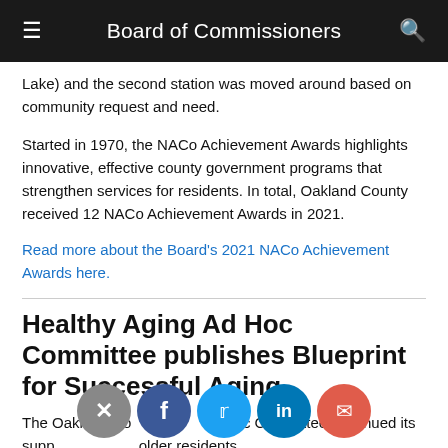Board of Commissioners
Lake) and the second station was moved around based on community request and need.
Started in 1970, the NACo Achievement Awards highlights innovative, effective county government programs that strengthen services for residents. In total, Oakland County received 12 NACo Achievement Awards in 2021.
Read more about the Board's 2021 NACo Achievement Awards here.
Healthy Aging Ad Hoc Committee publishes Blueprint for Successful Aging
The Oakland County ... Ad Hoc Committee continued its support for the county's older residents